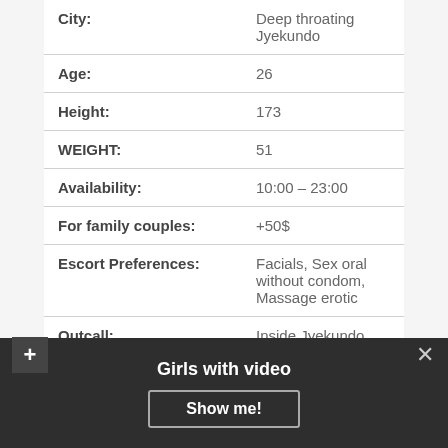| Field | Value |
| --- | --- |
| City: | Deep throating Jyekundo |
| Age: | 26 |
| Height: | 173 |
| WEIGHT: | 51 |
| Availability: | 10:00 – 23:00 |
| For family couples: | +50$ |
| Escort Preferences: | Facials, Sex oral without condom, Massage erotic |
| Outcall: | Inside Jyekundo |
| One HOUR: | 80Doll |
| Gangbang: | 350$ |
Girls with video
Show me!